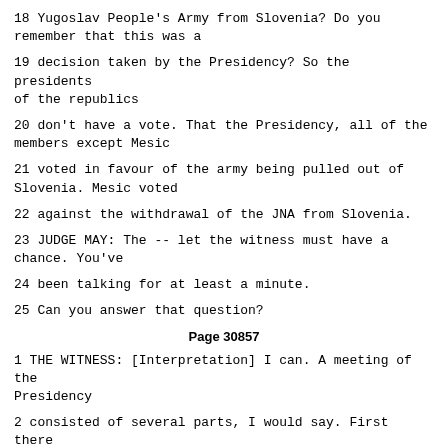18 Yugoslav People's Army from Slovenia? Do you remember that this was a
19 decision taken by the Presidency? So the presidents of the republics
20 don't have a vote. That the Presidency, all of the members except Mesic
21 voted in favour of the army being pulled out of Slovenia. Mesic voted
22 against the withdrawal of the JNA from Slovenia.
23 JUDGE MAY: The -- let the witness must have a chance. You've
24 been talking for at least a minute.
25 Can you answer that question?
Page 30857
1 THE WITNESS: [Interpretation] I can. A meeting of the Presidency
2 consisted of several parts, I would say. First there was some discussion
3 as to how to strengthen the position of the army in Slovenia, and then as